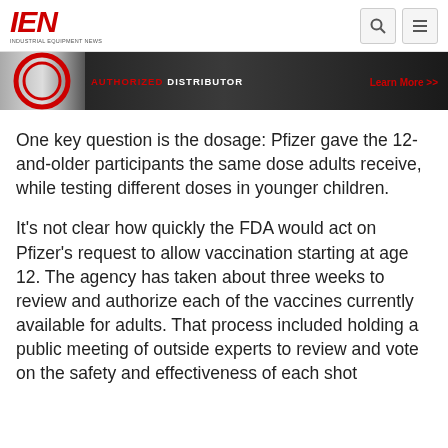IEN INDUSTRIAL EQUIPMENT NEWS
[Figure (advertisement): Authorized Distributor banner ad with circular logo graphic and Learn More >> link]
One key question is the dosage: Pfizer gave the 12-and-older participants the same dose adults receive, while testing different doses in younger children.
It's not clear how quickly the FDA would act on Pfizer's request to allow vaccination starting at age 12. The agency has taken about three weeks to review and authorize each of the vaccines currently available for adults. That process included holding a public meeting of outside experts to review and vote on the safety and effectiveness of each shot